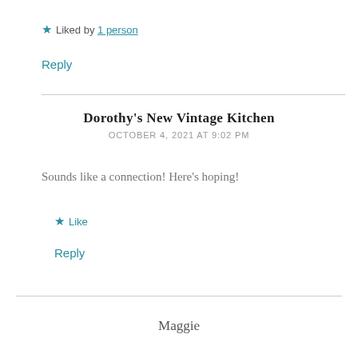★ Liked by 1 person
Reply
Dorothy's New Vintage Kitchen
OCTOBER 4, 2021 AT 9:02 PM
Sounds like a connection! Here's hoping!
★ Like
Reply
Maggie